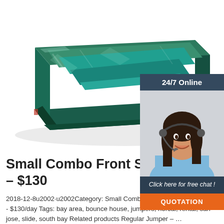[Figure (photo): Green inflatable pool/landing pad product on white background]
[Figure (infographic): 24/7 Online chat widget with woman wearing headset, 'Click here for free chat!' text, and orange QUOTATION button]
Small Combo Front Slide – King – $130
2018-12-8u2002·u2002Category: Small Combo Front Slide L20W13H15 - $130/day Tags: bay area, bounce house, jumpers, norcal, rental, san jose, slide, south bay Related products Regular Jumper – …